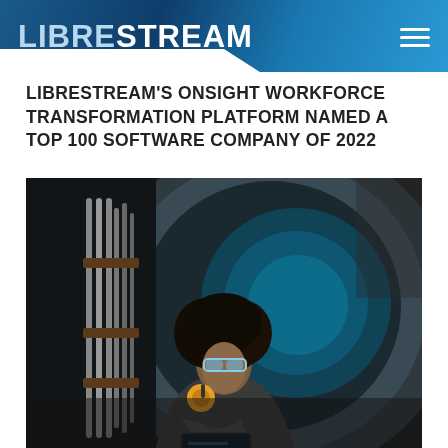LIBRESTREAM
LIBRESTREAM'S ONSIGHT WORKFORCE TRANSFORMATION PLATFORM NAMED A TOP 100 SOFTWARE COMPANY OF 2022
[Figure (photo): A technician with large afro hair, wearing blue safety glasses and yellow ear protection headphones around their neck, holding a tablet while inspecting aircraft machinery and wiring in an industrial setting]